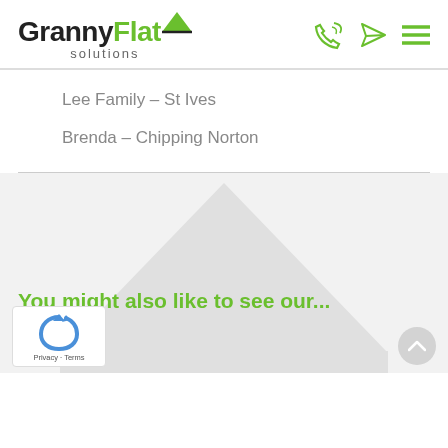[Figure (logo): GrannyFlat Solutions logo with house roof icon, green and black text]
[Figure (infographic): Header navigation icons: phone, paper plane, hamburger menu in green]
Lee Family – St Ives
Brenda – Chipping Norton
[Figure (illustration): Large light grey house/roof silhouette background graphic]
You might also like to see our...
[Figure (logo): reCAPTCHA badge with blue recycling-style arrows icon and Privacy - Terms links]